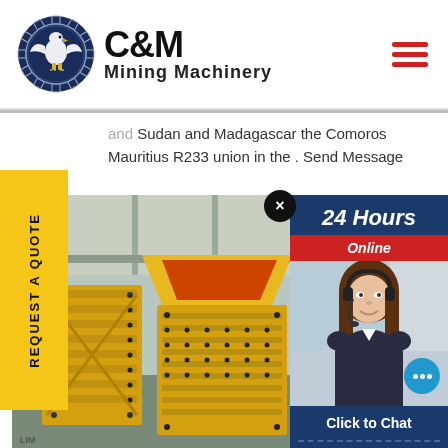[Figure (logo): C&M Mining Machinery logo with eagle/gear emblem in dark navy circle, bold C&M text and Mining Machinery subtitle]
Sudan and Madagascar the Comoros Mauritius R233 union in the . Send Message
REQUEST A QUOTE
[Figure (photo): Yellow industrial mining machinery/crusher equipment in a factory/warehouse setting]
[Figure (photo): 24 Hours Online customer service widget showing a woman with headset and chat icon, with Click to Chat button and Enquiry text]